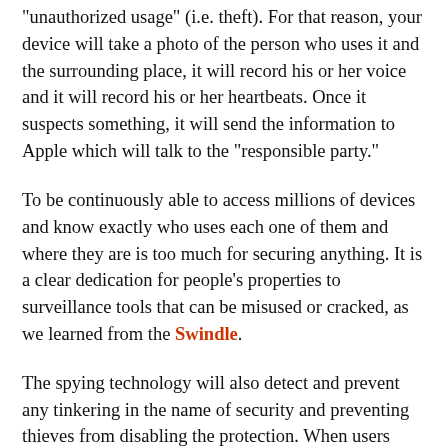"unauthorized usage" (i.e. theft). For that reason, your device will take a photo of the person who uses it and the surrounding place, it will record his or her voice and it will record his or her heartbeats. Once it suspects something, it will send the information to Apple which will talk to the "responsible party."
To be continuously able to access millions of devices and know exactly who uses each one of them and where they are is too much for securing anything. It is a clear dedication for people's properties to surveillance tools that can be misused or cracked, as we learned from the Swindle.
The spying technology will also detect and prevent any tinkering in the name of security and preventing thieves from disabling the protection. When users can't control the technology, it's not about their security – it's about Apple's.
Please join us in taking a stand against such malicious features